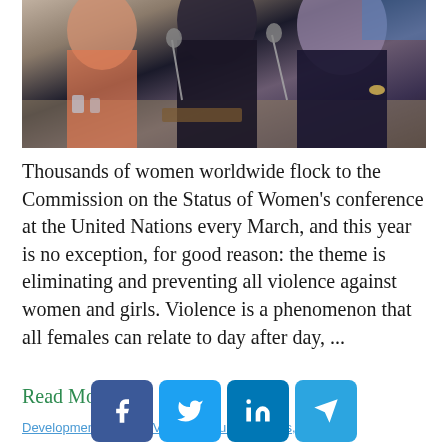[Figure (photo): Women at a conference table with microphones, appearing to be at a UN-style conference setting]
Thousands of women worldwide flock to the Commission on the Status of Women's conference at the United Nations every March, and this year is no exception, for good reason: the theme is eliminating and preventing all violence against women and girls. Violence is a phenomenon that all females can relate to day after day, ...
Read More →
Development, Gender Violence, Human Rights, Women...